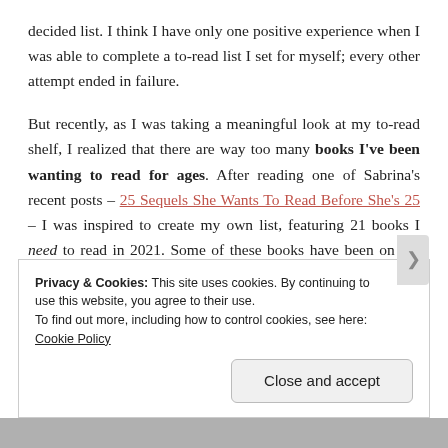decided list. I think I have only one positive experience when I was able to complete a to-read list I set for myself; every other attempt ended in failure.

But recently, as I was taking a meaningful look at my to-read shelf, I realized that there are way too many books I've been wanting to read for ages. After reading one of Sabrina's recent posts – 25 Sequels She Wants To Read Before She's 25 – I was inspired to create my own list, featuring 21 books I need to read in 2021. Some of these books have been on my to-read list for ages, others are more recent additions, but nonetheless, all of these are
Privacy & Cookies: This site uses cookies. By continuing to use this website, you agree to their use. To find out more, including how to control cookies, see here: Cookie Policy

Close and accept